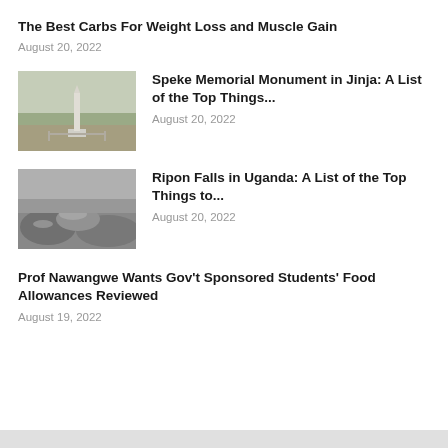The Best Carbs For Weight Loss and Muscle Gain
August 20, 2022
[Figure (photo): Speke Memorial Monument in Jinja, Uganda — a tall white obelisk on a stone base in an open landscape]
Speke Memorial Monument in Jinja: A List of the Top Things...
August 20, 2022
[Figure (photo): Black and white photo of Ripon Falls in Uganda — rocky waterfall scene]
Ripon Falls in Uganda: A List of the Top Things to...
August 20, 2022
Prof Nawangwe Wants Gov't Sponsored Students' Food Allowances Reviewed
August 19, 2022